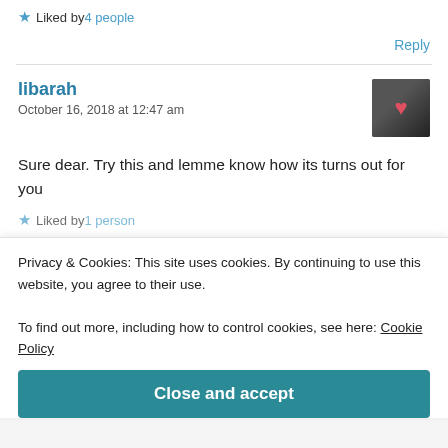★ Liked by 4 people
Reply
libarah
October 16, 2018 at 12:47 am
Sure dear. Try this and lemme know how its turns out for you
★ Liked by 1 person
Privacy & Cookies: This site uses cookies. By continuing to use this website, you agree to their use.
To find out more, including how to control cookies, see here: Cookie Policy
Close and accept